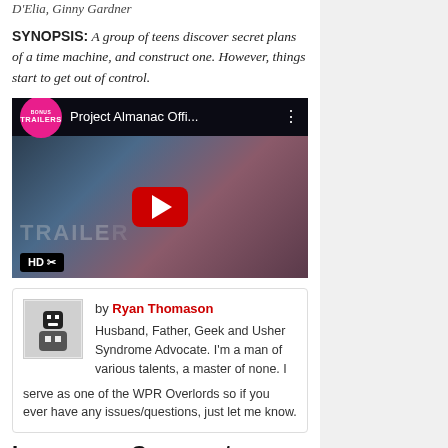D'Elia, Ginny Gardner
SYNOPSIS: A group of teens discover secret plans of a time machine, and construct one. However, things start to get out of control.
[Figure (screenshot): YouTube video thumbnail for 'Project Almanac Official Trailer' showing a movie trailer preview with play button, HD badge, and Trailers channel logo.]
by Ryan Thomason
Husband, Father, Geek and Usher Syndrome Advocate. I'm a man of various talents, a master of none. I serve as one of the WPR Overlords so if you ever have any issues/questions, just let me know.
Leave us a Comment
Please Like Us on Facebook!